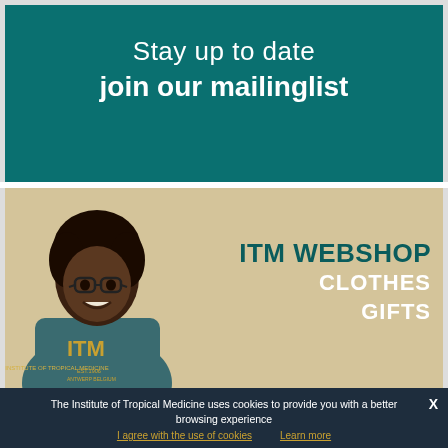Stay up to date
join our mailinglist
[Figure (illustration): ITM Webshop promotional banner with a smiling woman wearing a teal ITM hoodie on a beige background, with text 'ITM WEBSHOP CLOTHES GIFTS']
The Institute of Tropical Medicine uses cookies to provide you with a better browsing experience
I agree with the use of cookies  Learn more